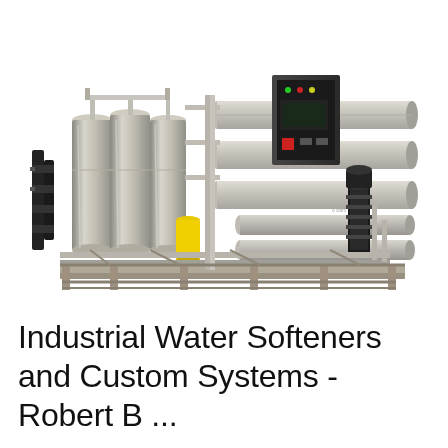[Figure (photo): Industrial water treatment system on a stainless steel skid frame. The large system includes multiple cylindrical pressure vessels (tanks) on the left, a bank of horizontal reverse osmosis membrane housings in the center and right, a black electrical control panel with indicator lights, a vertical multistage centrifugal pump, a yellow chemical dosing tank, and extensive stainless steel pipework and fittings throughout. The entire assembly is mounted on a stainless steel skid/frame.]
Industrial Water Softeners and Custom Systems - Robert B ...